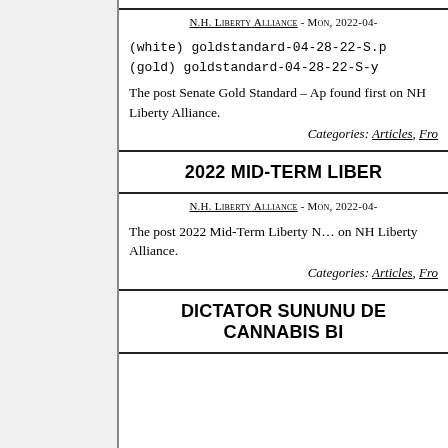N.H. Liberty Alliance - Mon, 2022-04-...
(white) goldstandard-04-28-22-S.p...
(gold) goldstandard-04-28-22-S-y...
The post Senate Gold Standard – Ap... first on NH Liberty Alliance.
Categories: Articles, Fro...
2022 MID-TERM LIBER...
N.H. Liberty Alliance - Mon, 2022-04-...
The post 2022 Mid-Term Liberty ... on NH Liberty Alliance.
Categories: Articles, Fro...
DICTATOR SUNUNU DE... CANNABIS BI...